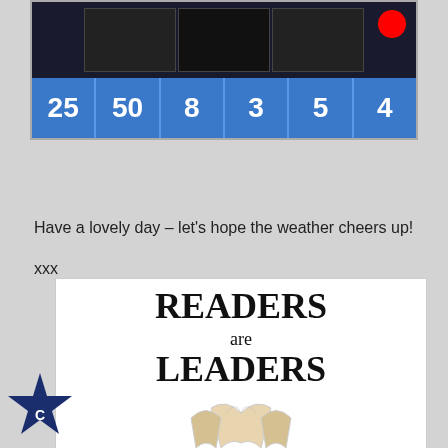[Figure (infographic): Blue scorecard with numbers 25, 50, 8, 3, 5, 4 in white on blue cells, with dark image row above and red circle top right]
Have a lovely day – let's hope the weather cheers up!
xxx
[Figure (illustration): Readers are Leaders motivational poster with book illustration and star badge]